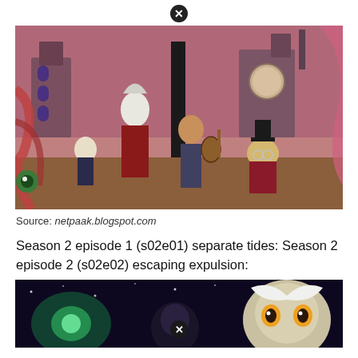[Figure (illustration): Animated scene from The Owl House showing several cartoon characters in a fantasy town setting with purple sky and ornate buildings. Characters include a tall white-haired demon woman, a small skulled character, a human teen with a guitar, and a pig-like character in a top hat.]
Source: netpaak.blogspot.com
Season 2 episode 1 (s02e01) separate tides: Season 2 episode 2 (s02e02) escaping expulsion:
[Figure (illustration): Partial animated scene showing characters from The Owl House at the bottom of the page, with a close-button icon overlay.]